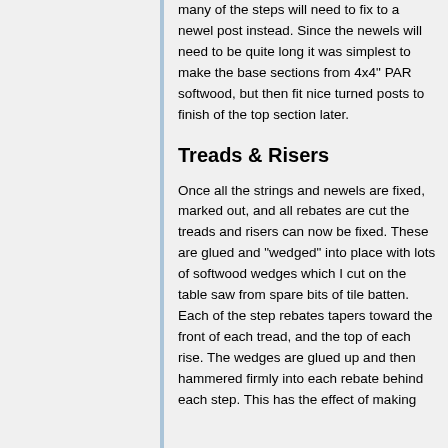many of the steps will need to fix to a newel post instead. Since the newels will need to be quite long it was simplest to make the base sections from 4x4" PAR softwood, but then fit nice turned posts to finish of the top section later.
Treads & Risers
Once all the strings and newels are fixed, marked out, and all rebates are cut the treads and risers can now be fixed. These are glued and "wedged" into place with lots of softwood wedges which I cut on the table saw from spare bits of tile batten. Each of the step rebates tapers toward the front of each tread, and the top of each rise. The wedges are glued up and then hammered firmly into each rebate behind each step. This has the effect of making